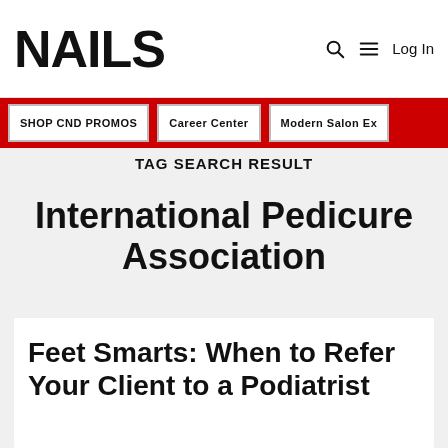NAILS
SHOP CND PROMOS | Career Center | Modern Salon Ex
TAG SEARCH RESULT
International Pedicure Association
Feet Smarts: When to Refer Your Client to a Podiatrist